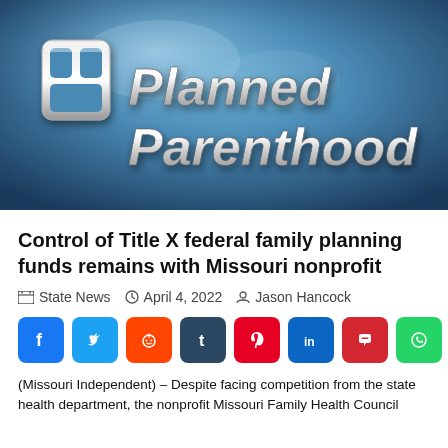[Figure (photo): Planned Parenthood logo — stylized silver 3D letters on a blue gradient background with the PP shield icon]
Control of Title X federal family planning funds remains with Missouri nonprofit
🗂 State News  🕐 April 4, 2022  👤 Jason Hancock
[Figure (infographic): Social media share buttons row: Facebook (blue), Twitter (blue), Reddit (orange-red), Tumblr (dark navy), Pinterest (red), LinkedIn (blue), Parler (pink-red), WhatsApp (green)]
(Missouri Independent) – Despite facing competition from the state health department, the nonprofit Missouri Family Health Council will continue to administer federal Title X family planning